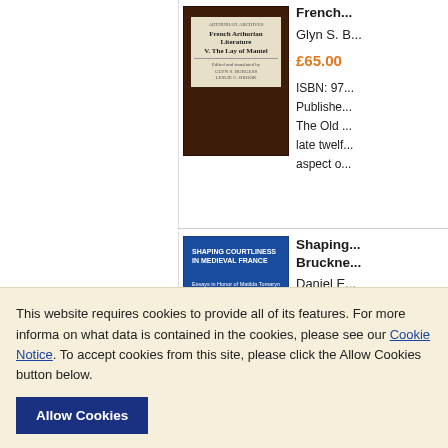[Figure (photo): Book cover of French Arthurian Literature volume, dark brown hardcover with cream label]
French...
Glyn S. B...
£65.00
ISBN: 97...
Published...
The Old...
late twel...
aspect o...
[Figure (photo): Book cover of Shaping Courtliness in Medieval France, blue hardcover]
Shaping...
Bruckne...
Daniel E...
£75.00
ISBN: 97...
Publishe...
This website requires cookies to provide all of its features. For more informa on what data is contained in the cookies, please see our Cookie Notice. To accept cookies from this site, please click the Allow Cookies button below.
Allow Cookies